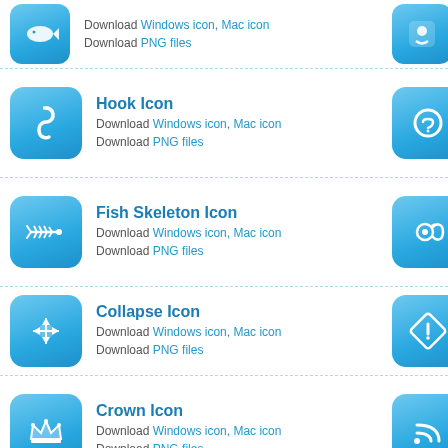Hook Icon - Download Windows icon, Mac icon, Download PNG files
Dating Icon - Download Windows icon, Mac icon, Download PNG files
Fish Skeleton Icon - Download Windows icon, Mac icon, Download PNG files
Refresh Icon - Download Windows icon, Mac icon, Download PNG files
Collapse Icon - Download Windows icon, Mac icon, Download PNG files
Exception Icon - Download Windows icon, Mac icon, Download PNG files
Crown Icon - Download Windows icon, Mac icon, Download PNG files
RSS Icon - Download Windows icon, Mac icon, Download PNG files
Wheet Icon - Download Windows icon, Mac icon, Download PNG files
Synchronize Icon - Download Windows icon, Mac icon, Download PNG files
Cursor Drag Arrow Icon - Download Windows icon, Mac icon, Download PNG files
Plumbing Icon - Download Windows icon, Mac icon, Download PNG files